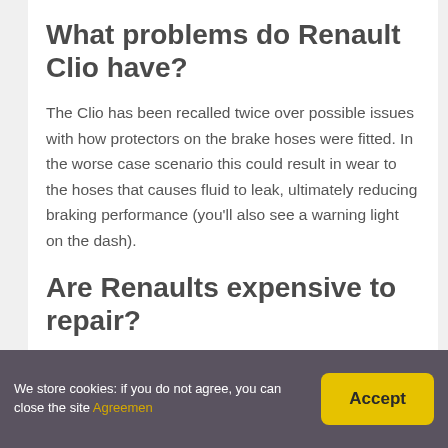What problems do Renault Clio have?
The Clio has been recalled twice over possible issues with how protectors on the brake hoses were fitted. In the worse case scenario this could result in wear to the hoses that causes fluid to leak, ultimately reducing braking performance (you’ll also see a warning light on the dash).
Are Renaults expensive to repair?
Renaults, Skodas, Fiats and Fords rank among the
We store cookies: if you do not agree, you can close the site Agreemen   Accept